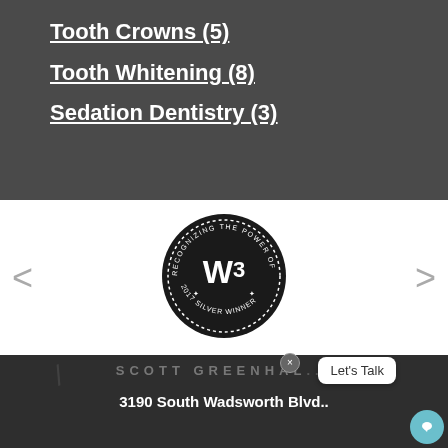Tooth Crowns (5)
Tooth Whitening (8)
Sedation Dentistry (3)
[Figure (logo): W3 Awards badge - circular black badge with text 'Recognizing the Power of Web Creativity' and '2017 Silver Winner' around a stylized W3 logo]
SCOTT GREENHAL...
3190 South Wadsworth Blvd..